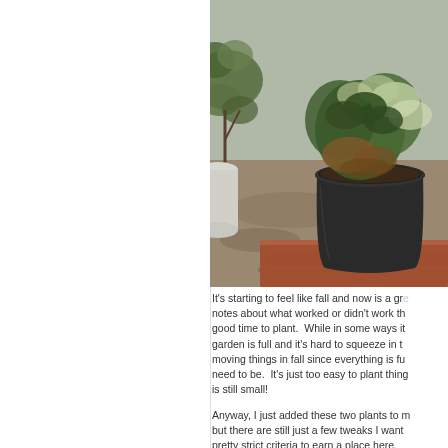[Figure (photo): A black pot containing green and variegated plants with some dried brown foliage, sitting on a reddish-brown wooden surface. Background shows garden ground with small stones and grass. Another plant with round leaves is partially visible at the left edge.]
It's starting to feel like fall and now is a gr... notes about what worked or didn't work th... good time to plant. While in some ways it... garden is full and it's hard to squeeze in t... moving things in fall since everything is fu... need to be. It's just too easy to plant thing... is still small!
Anyway, I just added these two plants to m... but there are still just a few tweaks I want... pretty strict criteria to earn a place here. ... texture, and preferably an interesting folia... bloom. In fact, I didn't choose these two p...